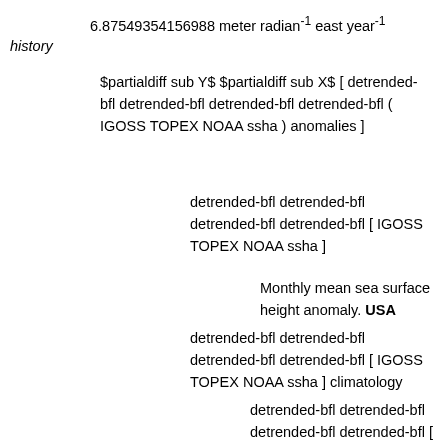6.87549354156988 meter radian⁻¹ east year⁻¹
history
$partialdiff sub Y$ $partialdiff sub X$ [ detrended-bfl detrended-bfl detrended-bfl detrended-bfl ( IGOSS TOPEX NOAA ssha ) anomalies ]
detrended-bfl detrended-bfl detrended-bfl detrended-bfl [ IGOSS TOPEX NOAA ssha ]
Monthly mean sea surface height anomaly. USA
detrended-bfl detrended-bfl detrended-bfl detrended-bfl [ IGOSS TOPEX NOAA ssha ] climatology
detrended-bfl detrended-bfl detrended-bfl detrended-bfl [ IGOSS TOPEX NOAA ssha ]